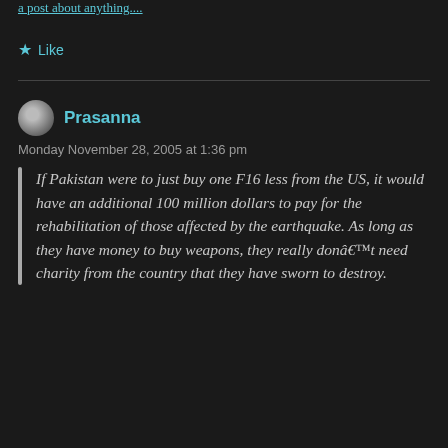a post about anything....
★ Like
Prasanna
Monday November 28, 2005 at 1:36 pm
If Pakistan were to just buy one F16 less from the US, it would have an additional 100 million dollars to pay for the rehabilitation of those affected by the earthquake. As long as they have money to buy weapons, they really donâ€™t need charity from the country that they have sworn to destroy.